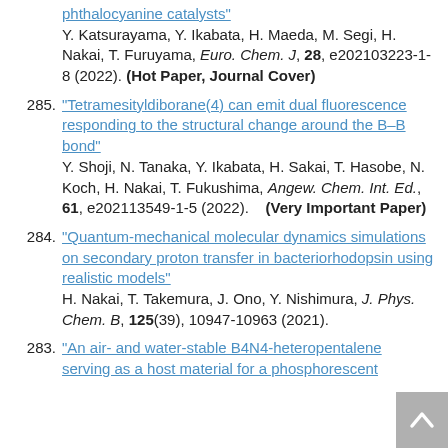phthalocyanine catalysts" Y. Katsurayama, Y. Ikabata, H. Maeda, M. Segi, H. Nakai, T. Furuyama, Euro. Chem. J, 28, e202103223-1-8 (2022). (Hot Paper, Journal Cover)
285. "Tetramesityldiborane(4) can emit dual fluorescence responding to the structural change around the B–B bond" Y. Shoji, N. Tanaka, Y. Ikabata, H. Sakai, T. Hasobe, N. Koch, H. Nakai, T. Fukushima, Angew. Chem. Int. Ed., 61, e202113549-1-5 (2022). (Very Important Paper)
284. "Quantum-mechanical molecular dynamics simulations on secondary proton transfer in bacteriorhodopsin using realistic models" H. Nakai, T. Takemura, J. Ono, Y. Nishimura, J. Phys. Chem. B, 125(39), 10947-10963 (2021).
283. "An air- and water-stable B4N4-heteropentalene serving as a host material for a phosphorescent...